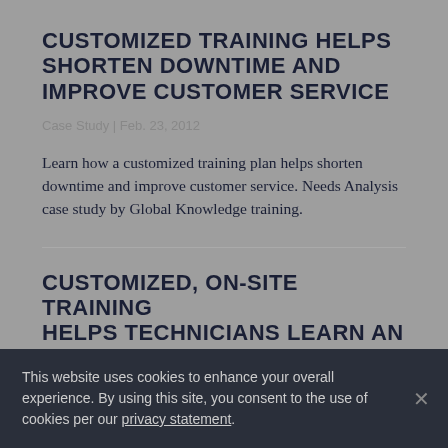CUSTOMIZED TRAINING HELPS SHORTEN DOWNTIME AND IMPROVE CUSTOMER SERVICE
Case Study | Feb. 23, 2012
Learn how a customized training plan helps shorten downtime and improve customer service. Needs Analysis case study by Global Knowledge training.
CUSTOMIZED, ON-SITE TRAINING HELPS TECHNICIANS LEARN AN UPGRADED PLATFORM TO SUPPORT 10,000 SATELLITE
This website uses cookies to enhance your overall experience. By using this site, you consent to the use of cookies per our privacy statement.